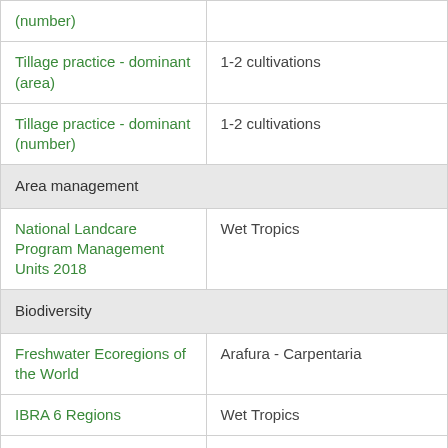| Category | Value |
| --- | --- |
| (number) |  |
| Tillage practice - dominant (area) | 1-2 cultivations |
| Tillage practice - dominant (number) | 1-2 cultivations |
| Area management |  |
| National Landcare Program Management Units 2018 | Wet Tropics |
| Biodiversity |  |
| Freshwater Ecoregions of the World | Arafura - Carpentaria |
| IBRA 6 Regions | Wet Tropics |
| IBRA 6 Sub Regions | Bellenden Ker - Lamb |
| IBRA 7 Regions | Wet Tropics |
| IBRA 7 Subregions | Bellenden Ker-Lamb |
| Terrestrial Ecoregional Boundaries | Queensland Tropical Rain Forests |